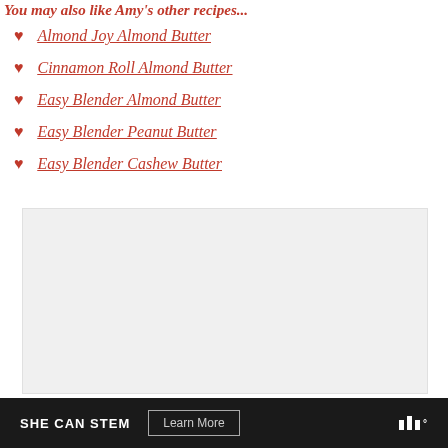You may also like Amy's other recipes...
Almond Joy Almond Butter
Cinnamon Roll Almond Butter
Easy Blender Almond Butter
Easy Blender Peanut Butter
Easy Blender Cashew Butter
[Figure (other): Advertisement placeholder box with light gray background]
SHE CAN STEM   Learn More